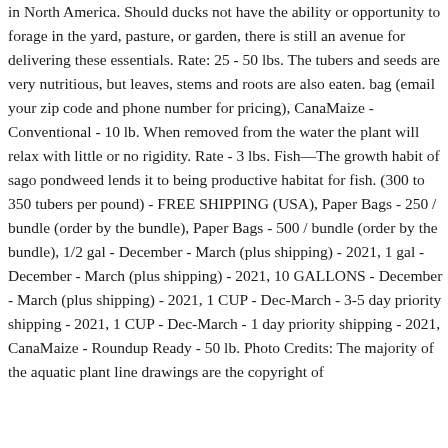in North America. Should ducks not have the ability or opportunity to forage in the yard, pasture, or garden, there is still an avenue for delivering these essentials. Rate: 25 - 50 lbs. The tubers and seeds are very nutritious, but leaves, stems and roots are also eaten. bag (email your zip code and phone number for pricing), CanaMaize - Conventional - 10 lb. When removed from the water the plant will relax with little or no rigidity. Rate - 3 lbs. Fish—The growth habit of sago pondweed lends it to being productive habitat for fish. (300 to 350 tubers per pound) - FREE SHIPPING (USA), Paper Bags - 250 / bundle (order by the bundle), Paper Bags - 500 / bundle (order by the bundle), 1/2 gal - December - March (plus shipping) - 2021, 1 gal - December - March (plus shipping) - 2021, 10 GALLONS - December - March (plus shipping) - 2021, 1 CUP - Dec-March - 3-5 day priority shipping - 2021, 1 CUP - Dec-March - 1 day priority shipping - 2021, CanaMaize - Roundup Ready - 50 lb. Photo Credits: The majority of the aquatic plant line drawings are the copyright of